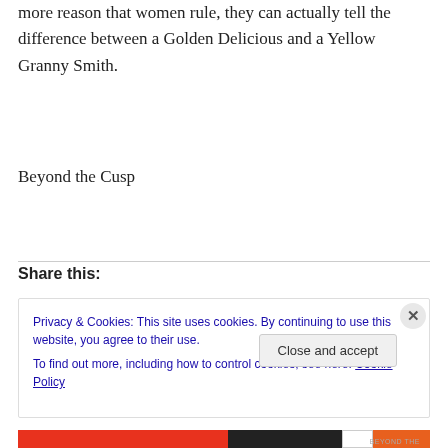more reason that women rule, they can actually tell the difference between a Golden Delicious and a Yellow Granny Smith.
Beyond the Cusp
Share this:
Privacy & Cookies: This site uses cookies. By continuing to use this website, you agree to their use.
To find out more, including how to control cookies, see here: Cookie Policy
Close and accept